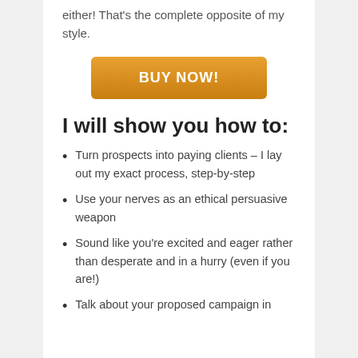either! That's the complete opposite of my style.
BUY NOW!
I will show you how to:
Turn prospects into paying clients – I lay out my exact process, step-by-step
Use your nerves as an ethical persuasive weapon
Sound like you're excited and eager rather than desperate and in a hurry (even if you are!)
Talk about your proposed campaign in